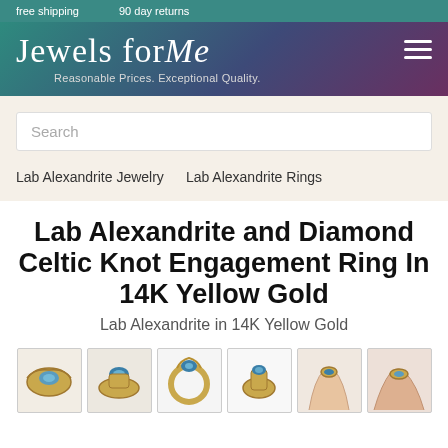free shipping   90 day returns
Jewels for Me – Reasonable Prices. Exceptional Quality.
Search
Lab Alexandrite Jewelry
Lab Alexandrite Rings
Lab Alexandrite and Diamond Celtic Knot Engagement Ring In 14K Yellow Gold
Lab Alexandrite in 14K Yellow Gold
[Figure (photo): Six thumbnail images of a Lab Alexandrite and Diamond Celtic Knot Engagement Ring in 14K Yellow Gold, showing different angles including top view, angled views, profile, and on-hand shots.]